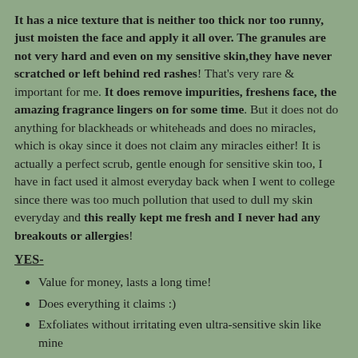It has a nice texture that is neither too thick nor too runny, just moisten the face and apply it all over. The granules are not very hard and even on my sensitive skin,they have never scratched or left behind red rashes! That's very rare & important for me. It does remove impurities, freshens face, the amazing fragrance lingers on for some time. But it does not do anything for blackheads or whiteheads and does no miracles, which is okay since it does not claim any miracles either! It is actually a perfect scrub, gentle enough for sensitive skin too, I have in fact used it almost everyday back when I went to college since there was too much pollution that used to dull my skin everyday and this really kept me fresh and I never had any breakouts or allergies!
YES-
Value for money, lasts a long time!
Does everything it claims :)
Exfoliates without irritating even ultra-sensitive skin like mine
Removes impurities, does not leave skin dry, moisturizes and smoothens